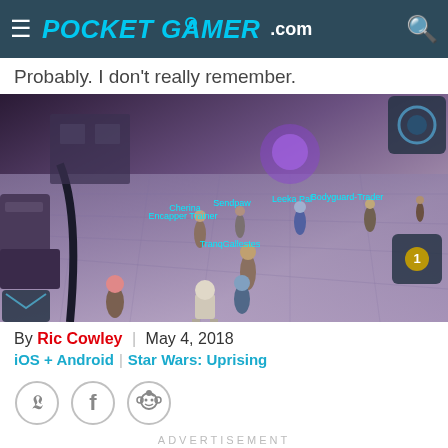POCKET GAMER.com
Probably. I don't really remember.
[Figure (screenshot): Screenshot of Star Wars: Uprising mobile game showing characters on a purple-toned space station plaza with UI elements and character name labels including Leeka Pal, Bodyguard-Trader, Sendpaw, Cherina, Encapper Trainer, TranqGallestes]
By Ric Cowley | May 4, 2018
iOS + Android | Star Wars: Uprising
[Figure (other): Social sharing icons: Twitter, Facebook, Reddit]
ADVERTISEMENT